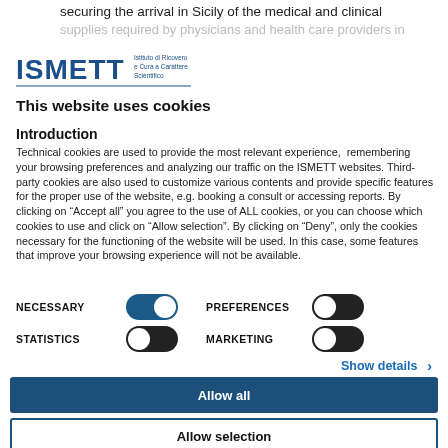securing the arrival in Sicily of the medical and clinical supplies required by physicians and health care providers in
[Figure (logo): ISMETT logo — Instituto di Ricovero e Cura a Carattere Scientifico with blue ISMETT text and smaller text to the right]
This website uses cookies
Introduction
Technical cookies are used to provide the most relevant experience, remembering your browsing preferences and analyzing our traffic on the ISMETT websites. Third-party cookies are also used to customize various contents and provide specific features for the proper use of the website, e.g. booking a consult or accessing reports. By clicking on "Accept all" you agree to the use of ALL cookies, or you can choose which cookies to use and click on "Allow selection". By clicking on "Deny", only the cookies necessary for the functioning of the website will be used. In this case, some features that improve your browsing experience will not be available.
NECESSARY [toggle on] PREFERENCES [toggle off] STATISTICS [toggle off] MARKETING [toggle off]
Show details >
Allow all
Allow selection
Deny